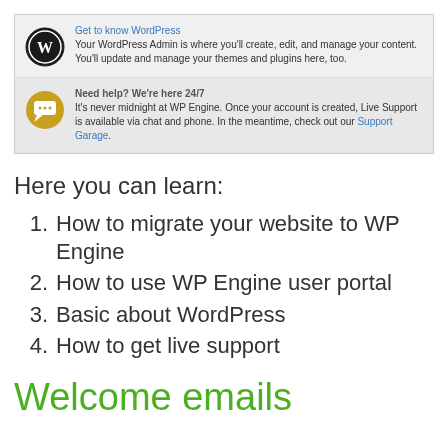[Figure (screenshot): Screenshot of a WordPress welcome panel with two rows: 'Get to know WordPress' with WordPress logo and text about WordPress Admin, and 'Need help? We're here 24/7' with a chat icon and text about WP Engine live support with a 'Support Garage' link.]
Here you can learn:
How to migrate your website to WP Engine
How to use WP Engine user portal
Basic about WordPress
How to get live support
Welcome emails